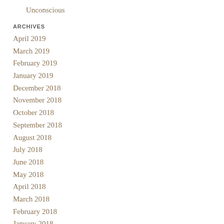Unconscious
ARCHIVES
April 2019
March 2019
February 2019
January 2019
December 2018
November 2018
October 2018
September 2018
August 2018
July 2018
June 2018
May 2018
April 2018
March 2018
February 2018
January 2018
December 2017
November 2017
April 2017
March 2017